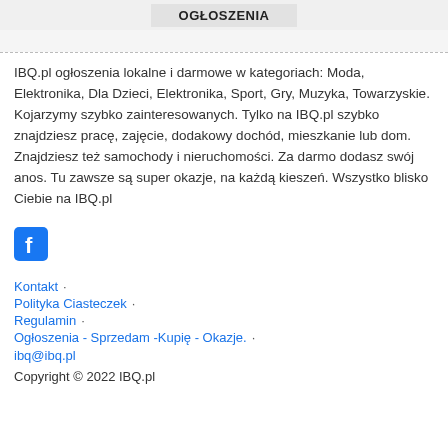OGŁOSZENIA
IBQ.pl ogłoszenia lokalne i darmowe w kategoriach: Moda, Elektronika, Dla Dzieci, Elektronika, Sport, Gry, Muzyka, Towarzyskie. Kojarzymy szybko zainteresowanych. Tylko na IBQ.pl szybko znajdziesz pracę, zajęcie, dodakowy dochód, mieszkanie lub dom. Znajdziesz też samochody i nieruchomości. Za darmo dodasz swój anos. Tu zawsze są super okazje, na każdą kieszeń. Wszystko blisko Ciebie na IBQ.pl
[Figure (logo): Facebook icon - blue square with white 'f' letter]
Kontakt ·
Polityka Ciasteczek ·
Regulamin ·
Ogłoszenia - Sprzedam -Kupię - Okazje. ·
ibq@ibq.pl
Copyright © 2022 IBQ.pl